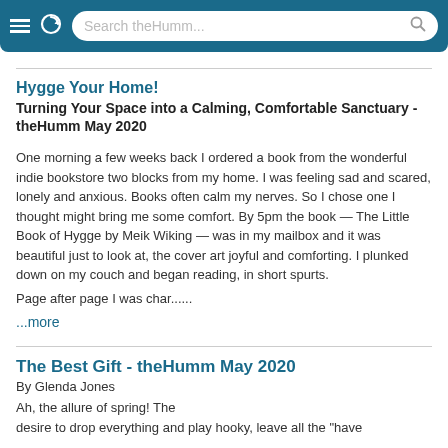Search theHumm...
Hygge Your Home!
Turning Your Space into a Calming, Comfortable Sanctuary - theHumm May 2020
One morning a few weeks back I ordered a book from the wonderful indie bookstore two blocks from my home. I was feeling sad and scared, lonely and anxious. Books often calm my nerves. So I chose one I thought might bring me some comfort. By 5pm the book — The Little Book of Hygge by Meik Wiking — was in my mailbox and it was beautiful just to look at, the cover art joyful and comforting. I plunked down on my couch and began reading, in short spurts.
Page after page I was char......
...more
The Best Gift - theHumm May 2020
By Glenda Jones
Ah, the allure of spring! The desire to drop everything and play hooky, leave all the "have